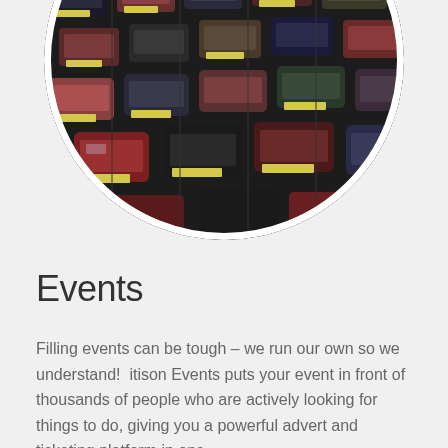[Figure (photo): Aerial view of a crowded parking lot filled with cars, shown inside a circular crop with a white border.]
Events
Filling events can be tough – we run our own so we understand!  itison Events puts your event in front of thousands of people who are actively looking for things to do, giving you a powerful advert and ticketing platform in one.